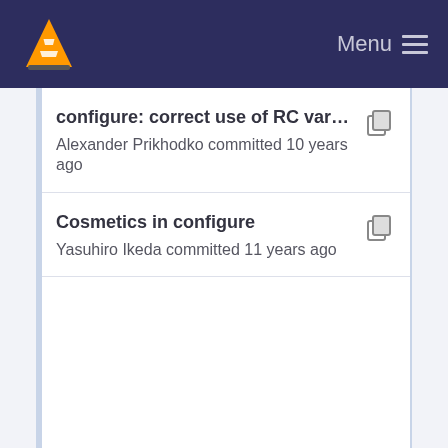Menu
configure: correct use of RC variable and add --ex...
Alexander Prikhodko committed 10 years ago
Cosmetics in configure
Yasuhiro Ikeda committed 11 years ago